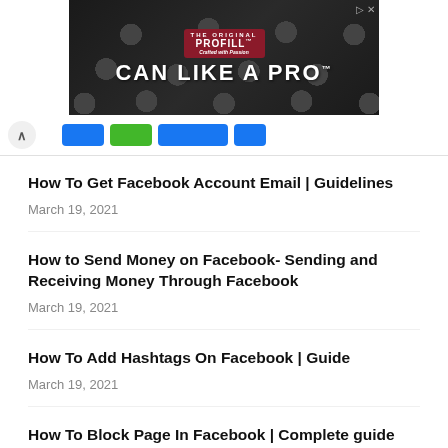[Figure (photo): Advertisement banner showing PROFILL 'CAN LIKE A PRO' text on dark background with circular metal lids/drums pattern]
[Figure (screenshot): Navigation bar with back arrow and colored buttons (blue, green, blue, blue)]
How To Get Facebook Account Email | Guidelines
March 19, 2021
How to Send Money on Facebook- Sending and Receiving Money Through Facebook
March 19, 2021
How To Add Hashtags On Facebook | Guide
March 19, 2021
How To Block Page In Facebook | Complete guide
March 19, 2021